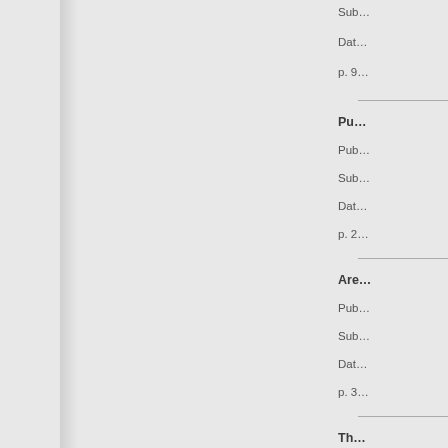Sub…
Dat…
p. 9…
Pu…
Pub…
Sub…
Dat…
p. 2…
Are…
Pub…
Sub…
Dat…
p. 3…
Th…
Pub…
Sub…
Dat…
p. 1…
Ne…